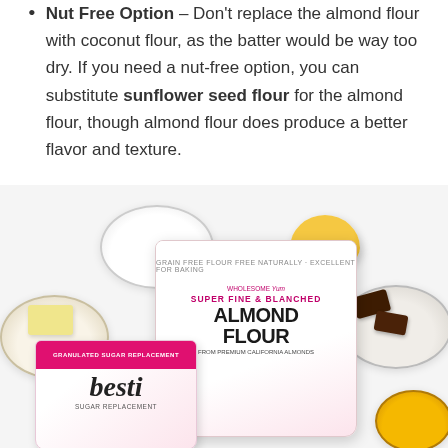Nut Free Option – Don't replace the almond flour with coconut flour, as the batter would be way too dry. If you need a nut-free option, you can substitute sunflower seed flour for the almond flour, though almond flour does produce a better flavor and texture.
[Figure (photo): Flat lay photo of baking ingredients on a white surface: a glass bowl of white powder (sugar/flour), a brown egg, a glass bowl with butter pats, a glass bowl with dark chocolate chunks, a glass bowl with honey, a large bag of Wholesome Yum Super Fine & Blanched Almond Flour, and a pink bag of Besti Sugar Replacement by Nature's Besti.]